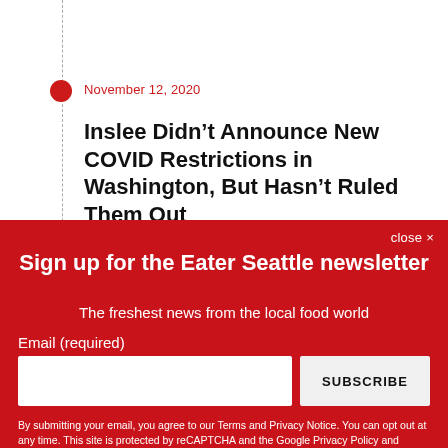November 12, 2020
Inslee Didn’t Announce New COVID Restrictions in Washington, But Hasn’t Ruled Them Out
By Gabe Guarente
The governor addressed the alarming spike of cases across the nation on Thursday, but he’s not announcing
close ×
Sign up for the Eater Seattle newsletter
The freshest news from the local food world
Email (required)
SUBSCRIBE
By submitting your email, you agree to our Terms and Privacy Notice. You can opt out at any time. This site is protected by reCAPTCHA and the Google Privacy Policy and Terms of Service apply.